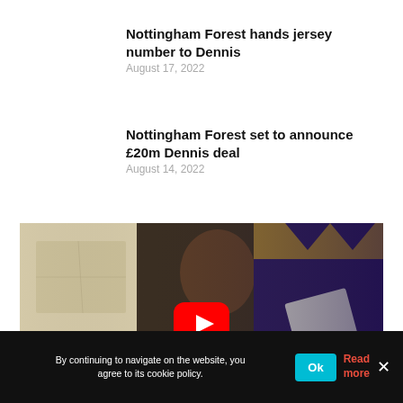Nottingham Forest hands jersey number to Dennis
August 17, 2022
Nottingham Forest set to announce £20m Dennis deal
August 14, 2022
[Figure (screenshot): Video thumbnail showing a person in front of a purple and gold background, with a YouTube play button overlay.]
By continuing to navigate on the website, you agree to its cookie policy.